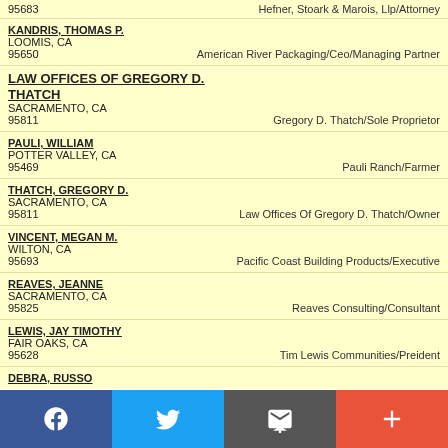95683   Hefner, Stoark & Marois, Llp/Attorney
KANDRIS, THOMAS P. | LOOMIS, CA | 95650 | American River Packaging/Ceo/Managing Partner
LAW OFFICES OF GREGORY D. THATCH | SACRAMENTO, CA | 95811 | Gregory D. Thatch/Sole Proprietor
PAULI, WILLIAM | POTTER VALLEY, CA | 95469 | Pauli Ranch/Farmer
THATCH, GREGORY D. | SACRAMENTO, CA | 95811 | Law Offices Of Gregory D. Thatch/Owner
VINCENT, MEGAN M. | WILTON, CA | 95693 | Pacific Coast Building Products/Executive
REAVES, JEANNE | SACRAMENTO, CA | 95825 | Reaves Consulting/Consultant
LEWIS, JAY TIMOTHY | FAIR OAKS, CA | 95628 | Tim Lewis Communities/Preident
DEBRA, RUSSO